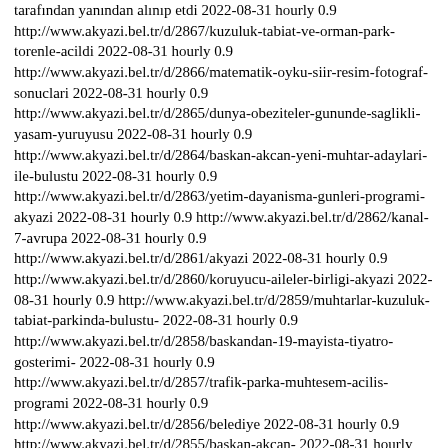tarafından yanından alınıp etdi 2022-08-31 hourly 0.9 http://www.akyazi.bel.tr/d/2867/kuzuluk-tabiat-ve-orman-park-torenle-acildi 2022-08-31 hourly 0.9 http://www.akyazi.bel.tr/d/2866/matematik-oyku-siir-resim-fotograf-sonuclari 2022-08-31 hourly 0.9 http://www.akyazi.bel.tr/d/2865/dunya-obeziteler-gununde-saglikli-yasam-yuruyusu 2022-08-31 hourly 0.9 http://www.akyazi.bel.tr/d/2864/baskan-akcan-yeni-muhtar-adaylari-ile-bulustu 2022-08-31 hourly 0.9 http://www.akyazi.bel.tr/d/2863/yetim-dayanisma-gunleri-programi-akyazi 2022-08-31 hourly 0.9 http://www.akyazi.bel.tr/d/2862/kanal-7-avrupa 2022-08-31 hourly 0.9 http://www.akyazi.bel.tr/d/2861/akyazi 2022-08-31 hourly 0.9 http://www.akyazi.bel.tr/d/2860/koruyucu-aileler-birligi-akyazi 2022-08-31 hourly 0.9 http://www.akyazi.bel.tr/d/2859/muhtarlar-kuzuluk-tabiat-parkinda-bulustu- 2022-08-31 hourly 0.9 http://www.akyazi.bel.tr/d/2858/baskandan-19-mayista-tiyatro-gosterimi- 2022-08-31 hourly 0.9 http://www.akyazi.bel.tr/d/2857/trafik-parka-muhtesem-acilis-programi 2022-08-31 hourly 0.9 http://www.akyazi.bel.tr/d/2856/belediye 2022-08-31 hourly 0.9 http://www.akyazi.bel.tr/d/2855/baskan-akcan- 2022-08-31 hourly 0.9 http://www.akyazi.bel.tr/d/2854/alt-yapisi-tamamlanan-mahallelerde-asfalt-serimi-basladi 2022-08-31 hourly 0.9 http://www.akyazi.bel.tr/d/2853/ipekyolu-belediyeler-birligi-toplantisi-yapildi 2022-08-31 hourly 0.9